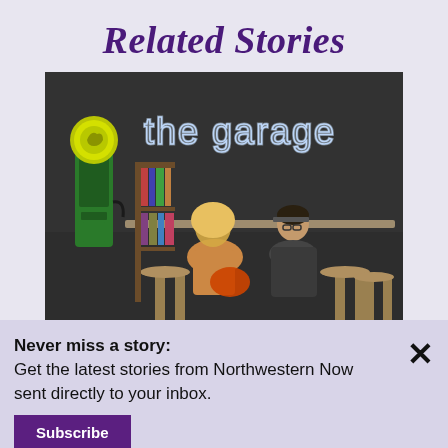Related Stories
[Figure (photo): Interior photo of 'The Garage' space showing two people sitting at a table, a vintage green Sinclair gas pump on the left, and a neon sign reading 'the garage' on the dark wall.]
Never miss a story:
Get the latest stories from Northwestern Now sent directly to your inbox.
Subscribe